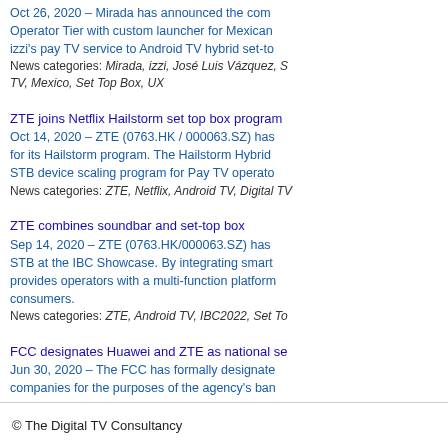Oct 26, 2020 – Mirada has announced the com Operator Tier with custom launcher for Mexican izzi's pay TV service to Android TV hybrid set-to News categories: Mirada, izzi, José Luis Vázquez, S TV, Mexico, Set Top Box, UX
ZTE joins Netflix Hailstorm set top box program Oct 14, 2020 – ZTE (0763.HK / 000063.SZ) has for its Hailstorm program. The Hailstorm Hybrid STB device scaling program for Pay TV operato News categories: ZTE, Netflix, Android TV, Digital TV
ZTE combines soundbar and set-top box Sep 14, 2020 – ZTE (0763.HK/000063.SZ) has STB at the IBC Showcase. By integrating smart provides operators with a multi-function platform consumers. News categories: ZTE, Android TV, IBC2022, Set To
FCC designates Huawei and ZTE as national se Jun 30, 2020 – The FCC has formally designate companies for the purposes of the agency's ban support to purchase equipment or services from threat. News categories: Federal Communications Commiss
« Older Items
© The Digital TV Consultancy